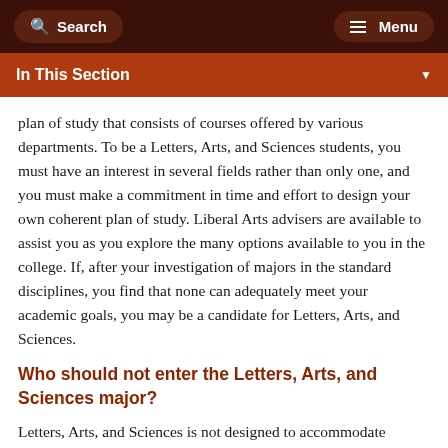Search   Menu
In This Section
plan of study that consists of courses offered by various departments. To be a Letters, Arts, and Sciences students, you must have an interest in several fields rather than only one, and you must make a commitment in time and effort to design your own coherent plan of study. Liberal Arts advisers are available to assist you as you explore the many options available to you in the college. If, after your investigation of majors in the standard disciplines, you find that none can adequately meet your academic goals, you may be a candidate for Letters, Arts, and Sciences.
Who should not enter the Letters, Arts, and Sciences major?
Letters, Arts, and Sciences is not designed to accommodate students who have been unsuccessful at meeting their academics goals (failed to meet entrance-to-major requirements) in another major. Similarly, Letters, Arts, and